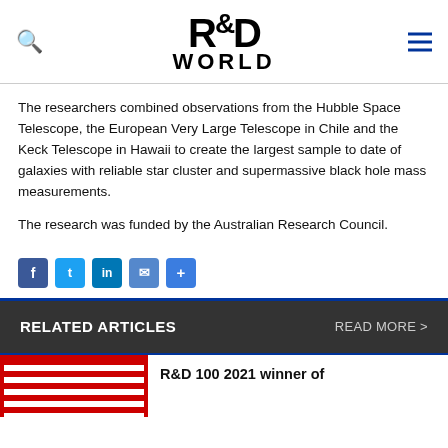R&D WORLD
The researchers combined observations from the Hubble Space Telescope, the European Very Large Telescope in Chile and the Keck Telescope in Hawaii to create the largest sample to date of galaxies with reliable star cluster and supermassive black hole mass measurements.
The research was funded by the Australian Research Council.
[Figure (other): Social sharing icons: Facebook, Twitter, LinkedIn, Email, Share]
RELATED ARTICLES
READ MORE >
[Figure (photo): Red and white striped image thumbnail]
R&D 100 2021 winner of